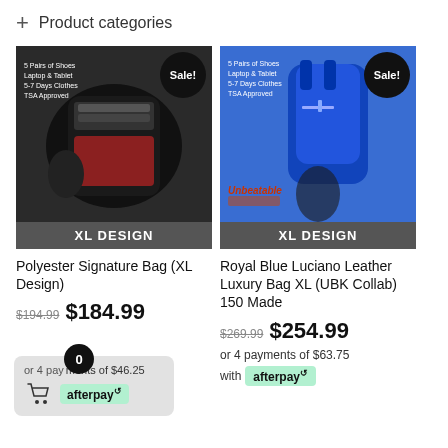+ Product categories
[Figure (photo): Black polyester backpack open showing interior compartments, with 'XL DESIGN' label bar and 'Sale!' badge]
[Figure (photo): Royal blue large backpack worn by a person, with 'XL DESIGN' label bar and 'Sale!' badge]
Polyester Signature Bag (XL Design)
Royal Blue Luciano Leather Luxury Bag XL (UBK Collab) 150 Made
$194.99 $184.99
$269.99 $254.99
or 4 payments of $46.25 with afterpay
or 4 payments of $63.75 with afterpay